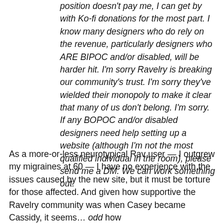position doesn't pay me, I can get by with Ko-fi donations for the most part. I know many designers who do rely on the revenue, particularly designers who ARE BIPOC and/or disabled, will be harder hit. I'm sorry Ravelry is breaking our community's trust. I'm sorry they've wielded their monopoly to make it clear that many of us don't belong. I'm sorry. If any BOPOC and/or disabled designers need help setting up a website (although I'm not the most qualified individual in the room), please send me a DM. We can work something out.
As a more-or-less neurotypical Rav user — I outgrew my migraines at 60 — I have no experience with the issues caused by the new site, but it must be torture for those affected. And given how supportive the Ravelry community was when Casey became Cassidy, it seems... odd how